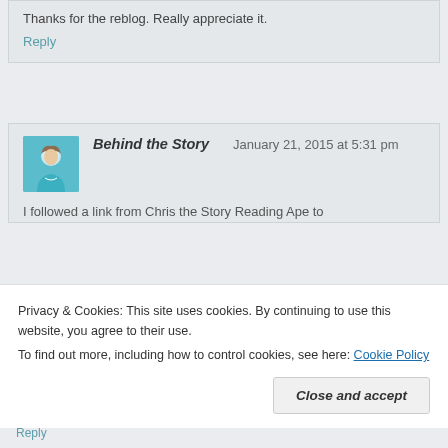Thanks for the reblog. Really appreciate it.
Reply
Behind the Story   January 21, 2015 at 5:31 pm
I followed a link from Chris the Story Reading Ape to
Privacy & Cookies: This site uses cookies. By continuing to use this website, you agree to their use.
To find out more, including how to control cookies, see here: Cookie Policy
Close and accept
Reply